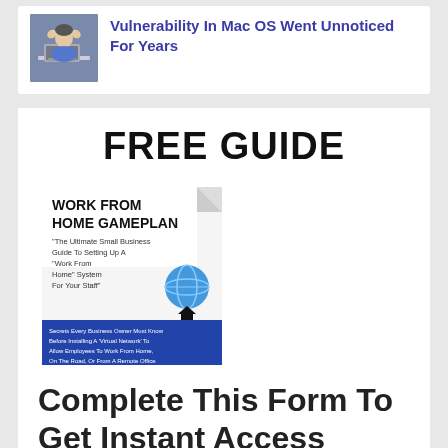[Figure (photo): Person with hands on head in front of laptop, blue shirt]
Vulnerability In Mac OS Went Unnoticed For Years
FREE GUIDE
[Figure (illustration): Book cover: WORK FROM HOME GAMEPLAN - The Ultimate Small Business Guide To Setting Up A Work From Home System For Your Staff. Secrets Every Business Owner Must Know Before Installing A Virtual Network To Allow Employees To Work From Home, On The Road, Or From A Remote Office]
Complete This Form To Get Instant Access